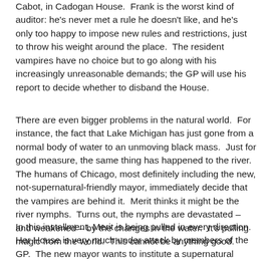Cabot, in Cadogan House.  Frank is the worst kind of auditor: he's never met a rule he doesn't like, and he's only too happy to impose new rules and restrictions, just to throw his weight around the place.  The resident vampires have no choice but to go along with his increasingly unreasonable demands; the GP will use his report to decide whether to disband the House.
There are even bigger problems in the natural world.  For instance, the fact that Lake Michigan has just gone from a normal body of water to an unmoving black mass.  Just for good measure, the same thing has happened to the river.  The humans of Chicago, most definitely including the new, not-supernatural-friendly mayor, immediately decide that the vampires are behind it.  Merit thinks it might be the river nymphs.  Turns out, the nymphs are devastated – and weakened – by the changes in the water.  It's pulling magic from the world.  This cannot be anything good.
In this installment, Merit is being pulled in every direction.  Her House is very much under attack by members of the GP.  The new mayor wants to institute a supernatural